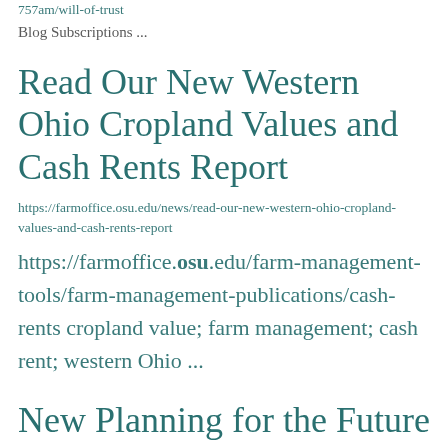757am/will-of-trust
Blog Subscriptions ...
Read Our New Western Ohio Cropland Values and Cash Rents Report
https://farmoffice.osu.edu/news/read-our-new-western-ohio-cropland-values-and-cash-rents-report
https://farmoffice.osu.edu/farm-management-tools/farm-management-publications/cash-rents cropland value; farm management; cash rent; western Ohio ...
New Planning for the Future of Your